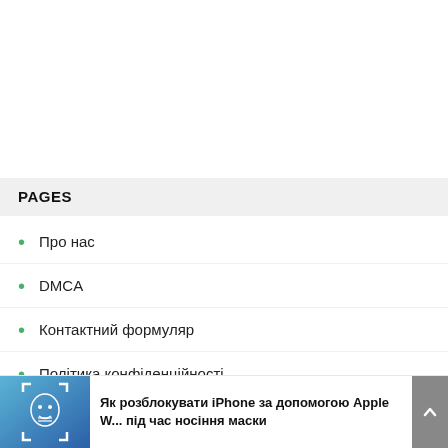PAGES
Про нас
DMCA
Контактний формуляр
Політика конфіденційності
Редакційна політика
[Figure (screenshot): Thumbnail image with gradient blue background and a mask/face scan icon]
Як розблокувати iPhone за допомогою Apple Watch під час носіння маски